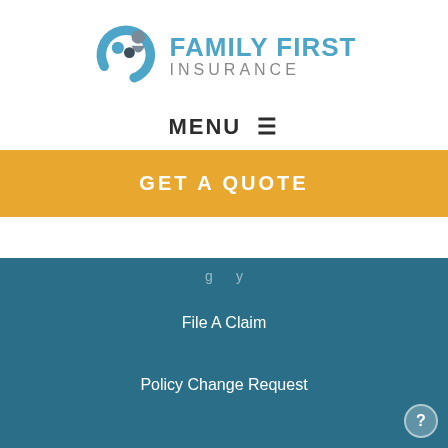[Figure (logo): Family First Insurance logo with abstract figures in blue and grey circles on the left, and the text 'FAMILY FIRST INSURANCE' on the right]
MENU ☰
GET A QUOTE
File A Claim
Policy Change Request